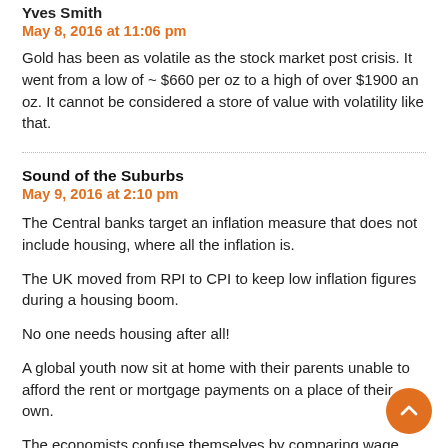Yves Smith
May 8, 2016 at 11:06 pm
Gold has been as volatile as the stock market post crisis. It went from a low of ~ $660 per oz to a high of over $1900 an oz. It cannot be considered a store of value with volatility like that.
Sound of the Suburbs
May 9, 2016 at 2:10 pm
The Central banks target an inflation measure that does not include housing, where all the inflation is.
The UK moved from RPI to CPI to keep low inflation figures during a housing boom.
No one needs housing after all!
A global youth now sit at home with their parents unable to afford the rent or mortgage payments on a place of their own.
The economists confuse themselves by comparing wage inflation to an inflation measure that does not include housing that everyone needs.
“I can’t understand why global aggregate demand is